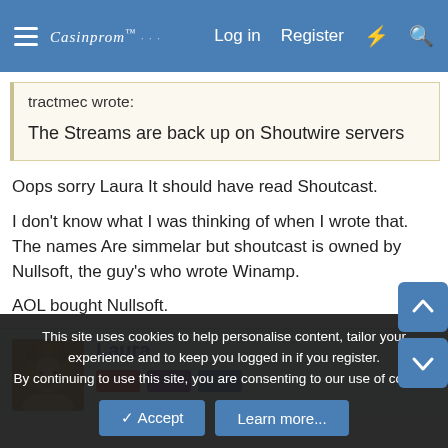Casinprom™   Log in   Register
tractmec wrote:
The Streams are back up on Shoutwire servers
Oops sorry Laura It should have read Shoutcast.

I don't know what I was thinking of when I wrote that. The names Are simmelar but shoutcast is owned by Nullsoft, the guy's who wrote Winamp.
AOL bought Nullsoft.
Laura
This site uses cookies to help personalise content, tailor your experience and to keep you logged in if you register.
By continuing to use this site, you are consenting to our use of cookies